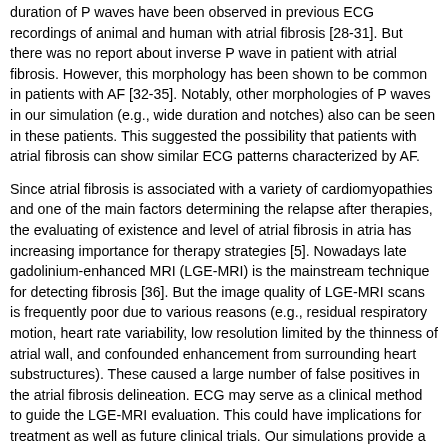duration of P waves have been observed in previous ECG recordings of animal and human with atrial fibrosis [28-31]. But there was no report about inverse P wave in patient with atrial fibrosis. However, this morphology has been shown to be common in patients with AF [32-35]. Notably, other morphologies of P waves in our simulation (e.g., wide duration and notches) also can be seen in these patients. This suggested the possibility that patients with atrial fibrosis can show similar ECG patterns characterized by AF.
Since atrial fibrosis is associated with a variety of cardiomyopathies and one of the main factors determining the relapse after therapies, the evaluating of existence and level of atrial fibrosis in atria has increasing importance for therapy strategies [5]. Nowadays late gadolinium-enhanced MRI (LGE-MRI) is the mainstream technique for detecting fibrosis [36]. But the image quality of LGE-MRI scans is frequently poor due to various reasons (e.g., residual respiratory motion, heart rate variability, low resolution limited by the thinness of atrial wall, and confounded enhancement from surrounding heart substructures). These caused a large number of false positives in the atrial fibrosis delineation. ECG may serve as a clinical method to guide the LGE-MRI evaluation. This could have implications for treatment as well as future clinical trials. Our simulations provide a promising starting point for assessing patients with atrial fibrosis by ECG, and this could provide some references for clinical diagnosis.
It should be point out that there are still some limitations in this study. In our simulation, the atrial fibrosis model was constructed by uniformly random distributed fibrosis but not patient-derived. At the macroscopic level, we only considered the percentage increasing to represent the enhancement of fibrotic level, and the different number of coupled